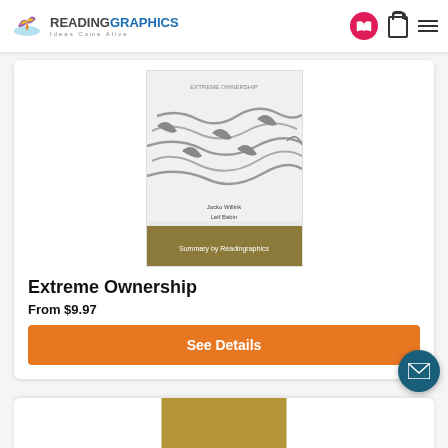ReadingGraphics — Ideas Come Alive
[Figure (photo): Book cover of Extreme Ownership with barbed wire imagery and 'Summary by Readingraphics' label at bottom, olive/green band at base]
Extreme Ownership
From $9.97
See Details